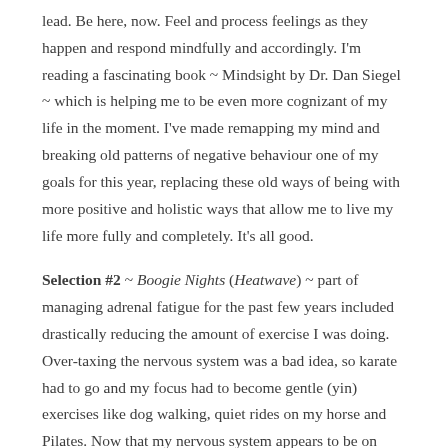lead. Be here, now. Feel and process feelings as they happen and respond mindfully and accordingly. I'm reading a fascinating book ~ Mindsight by Dr. Dan Siegel ~ which is helping me to be even more cognizant of my life in the moment. I've made remapping my mind and breaking old patterns of negative behaviour one of my goals for this year, replacing these old ways of being with more positive and holistic ways that allow me to live my life more fully and completely. It's all good.
Selection #2 ~ Boogie Nights (Heatwave) ~ part of managing adrenal fatigue for the past few years included drastically reducing the amount of exercise I was doing. Over-taxing the nervous system was a bad idea, so karate had to go and my focus had to become gentle (yin) exercises like dog walking, quiet rides on my horse and Pilates. Now that my nervous system appears to be on sounder footing I want to expand my exercise regimen, still. I need to be mindful about it. Since his retirement